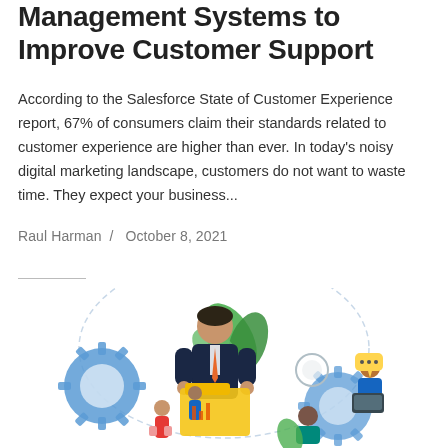Management Systems to Improve Customer Support
According to the Salesforce State of Customer Experience report, 67% of consumers claim their standards related to customer experience are higher than ever. In today's noisy digital marketing landscape, customers do not want to waste time. They expect your business...
Raul Harman / October 8, 2021
[Figure (illustration): Illustration of business people with gears, laptops, charts and plants representing customer support management systems]